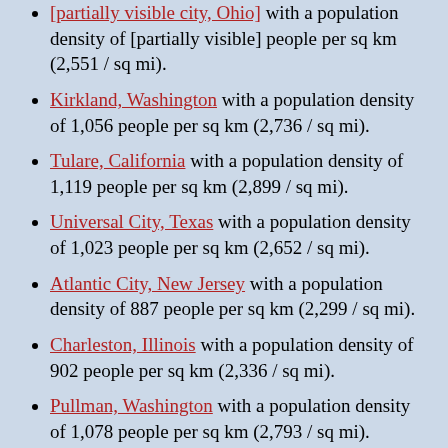[partially visible city, Ohio] with a population density of [partially visible] people per sq km (2,551 / sq mi).
Kirkland, Washington with a population density of 1,056 people per sq km (2,736 / sq mi).
Tulare, California with a population density of 1,119 people per sq km (2,899 / sq mi).
Universal City, Texas with a population density of 1,023 people per sq km (2,652 / sq mi).
Atlantic City, New Jersey with a population density of 887 people per sq km (2,299 / sq mi).
Charleston, Illinois with a population density of 902 people per sq km (2,336 / sq mi).
Pullman, Washington with a population density of 1,078 people per sq km (2,793 / sq mi).
Cities with a similar